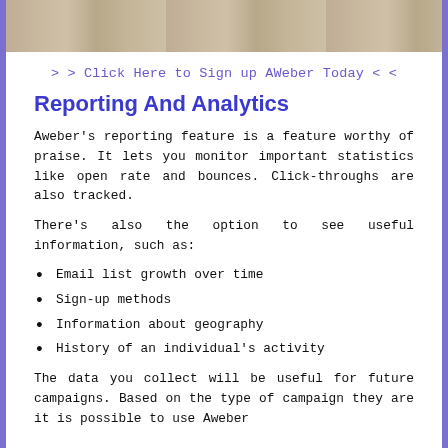[Figure (photo): Top portion of a photo showing a wooden table surface with some light fabric or paper, partially visible.]
> > Click Here to Sign up AWeber Today < <
Reporting And Analytics
Aweber's reporting feature is a feature worthy of praise. It lets you monitor important statistics like open rate and bounces. Click-throughs are also tracked.
There's also the option to see useful information, such as:
Email list growth over time
Sign-up methods
Information about geography
History of an individual's activity
The data you collect will be useful for future campaigns. Based on the type of campaign they are it is possible to use Aweber